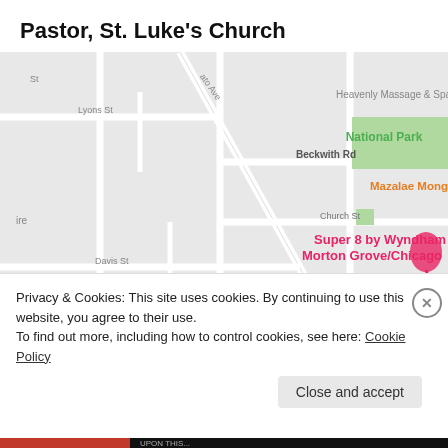Pastor, St. Luke's Church
[Figure (map): Google Maps screenshot showing the area near Morton Grove/Chicago with labels: Heavenly Massage & Spa, National Park (green area), Beckwith Rd, Mazalae Mongolian, Church St, Super 8 by Wyndham Morton Grove/Chicago (pink), Michael Auto Clinic (blue), Davis St, Lyons St, and a blue location pin icon.]
Privacy & Cookies: This site uses cookies. By continuing to use this website, you agree to their use.
To find out more, including how to control cookies, see here: Cookie Policy
Close and accept